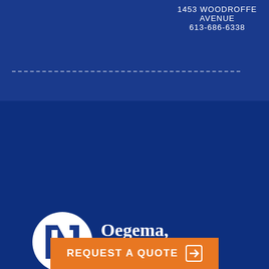1453 WOODROFFE AVENUE
613-686-6338
[Figure (logo): Oegema, Nicholson & Associates Insurance Brokers Ltd. logo — circular white icon with stylized N, white text on dark blue background]
1451 Woodroffe Avenue Ottawa, ON K2G 1W1
613-519-0230
613-224-4181
REQUEST A QUOTE